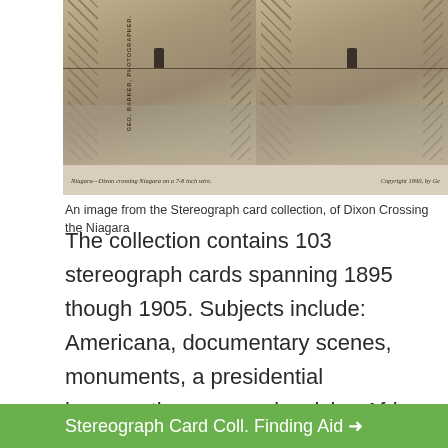[Figure (photo): A stereograph card showing a man (Dixon) crossing Niagara on a 7-8 inch wire. The image shows two side-by-side sepia photographs of a figure on a tightrope between tall tower structures above rushing water. Caption reads: 'Niagara—Dixon crossing Niagara on a 7-8 inch wire.' and 'Copyright 1890, by Ge...' Publisher text reads 'GEO. BARKER, PHOTOGRAPHER' along the side.]
An image from the Stereograph card collection, of Dixon Crossing the Niagara
The collection contains 103 stereograph cards spanning 1895 though 1905. Subjects include: Americana, documentary scenes, monuments, a presidential inauguration, scenes involving African Americans, places, animals, and jobs.
Stereograph Card Coll. Finding Aid →